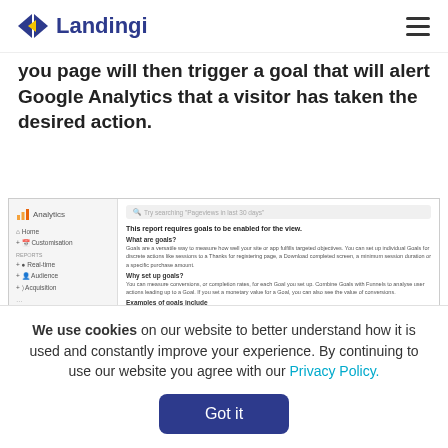Landingi
you page will then trigger a goal that will alert Google Analytics that a visitor has taken the desired action.
[Figure (screenshot): Google Analytics interface screenshot showing 'This report requires goals to be enabled for the view' message with sections: What are goals?, Why set up goals?, Examples of goals include, with bullet points listing Thank you for registering pages, flight itinerary confirmations, Download completed page.]
We use cookies on our website to better understand how it is used and constantly improve your experience. By continuing to use our website you agree with our Privacy Policy.
Got it